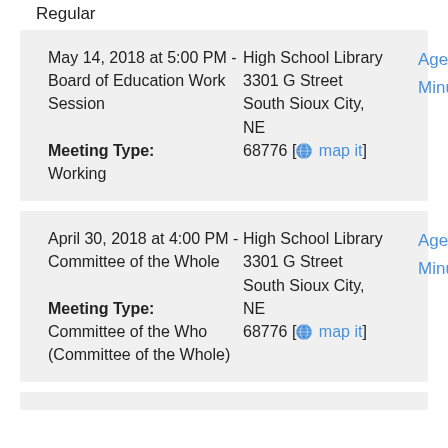Regular
| Date/Meeting | Location | Links |
| --- | --- | --- |
| May 14, 2018 at 5:00 PM - Board of Education Work Session
Meeting Type: Working | High School Library 3301 G Street South Sioux City, NE 68776 [map it] | Agenda
Minutes |
| April 30, 2018 at 4:00 PM - Committee of the Whole
Meeting Type: Committee of the Who (Committee of the Whole) | High School Library 3301 G Street South Sioux City, NE 68776 [map it] | Agenda
Minutes |